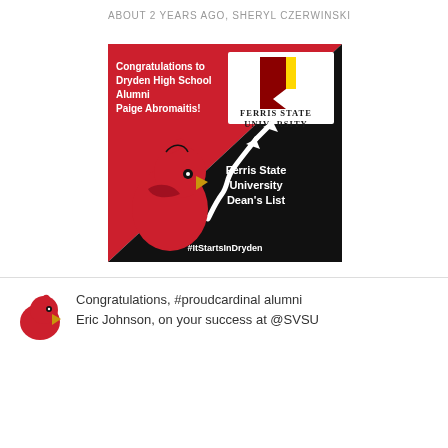ABOUT 2 YEARS AGO, SHERYL CZERWINSKI
[Figure (infographic): Congratulations graphic for Dryden High School Alumni Paige Abromaitis for Ferris State University Dean's List. Red and black background with cardinal mascot, Ferris State University logo, upward trending arrow, and text '#ItStartsInDryden']
Congratulations, #proudcardinal alumni Eric Johnson, on your success at @SVSU